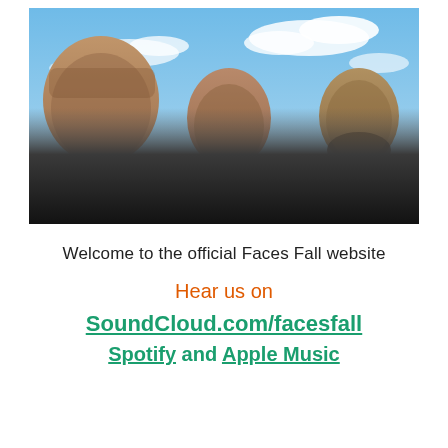[Figure (photo): Three men standing outdoors under a cloudy blue sky, looking toward camera. They wear dark clothing. The man on the left is bald, the center man has a hoodie, and the man on the right has a beard.]
Welcome to the official Faces Fall website
Hear us on
SoundCloud.com/facesfall
Spotify and Apple Music